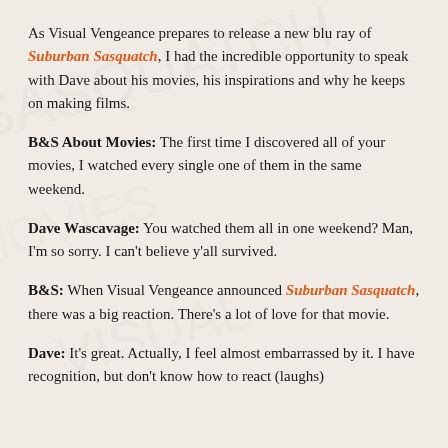As Visual Vengeance prepares to release a new blu ray of Suburban Sasquatch, I had the incredible opportunity to speak with Dave about his movies, his inspirations and why he keeps on making films.
B&S About Movies: The first time I discovered all of your movies, I watched every single one of them in the same weekend.
Dave Wascavage: You watched them all in one weekend? Man, I'm so sorry. I can't believe y'all survived.
B&S: When Visual Vengeance announced Suburban Sasquatch, there was a big reaction. There's a lot of love for that movie.
Dave: It's great. Actually, I feel almost embarrassed by it. I have recognition, but don't know how to react (laughs)